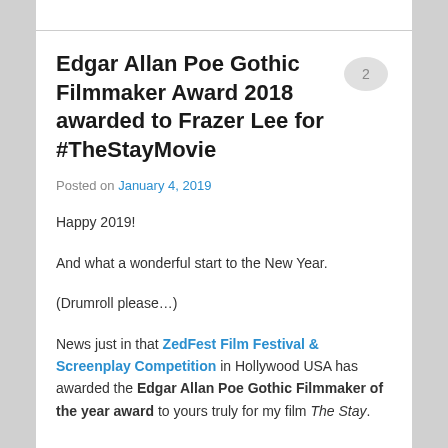Edgar Allan Poe Gothic Filmmaker Award 2018 awarded to Frazer Lee for #TheStayMovie
Posted on January 4, 2019
Happy 2019!
And what a wonderful start to the New Year.
(Drumroll please…)
News just in that ZedFest Film Festival & Screenplay Competition in Hollywood USA has awarded the Edgar Allan Poe Gothic Filmmaker of the year award to yours truly for my film The Stay.